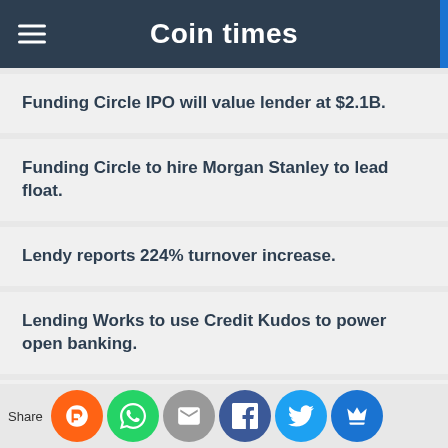Coin times
Funding Circle IPO will value lender at $2.1B.
Funding Circle to hire Morgan Stanley to lead float.
Lendy reports 224% turnover increase.
Lending Works to use Credit Kudos to power open banking.
Small businesses use specialist lender
Share